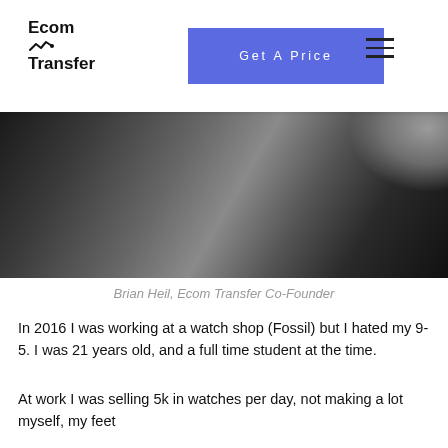Ecom Transfer | Get A Price
[Figure (photo): Black and white photo of Brian Heil, Ecom Transfer Co-Founder, cropped showing upper body]
Brian Heil, Ecom Transfer Co-Founder
In 2016 I was working at a watch shop (Fossil) but I hated my 9-5. I was 21 years old, and a full time student at the time.
At work I was selling 5k in watches per day, not making a lot myself, my feet hurt, and I wanted to make some real money. I knew I needed a change.
Ecommerce was booming, and it seemed like everything was moving online. It made sense to start building a